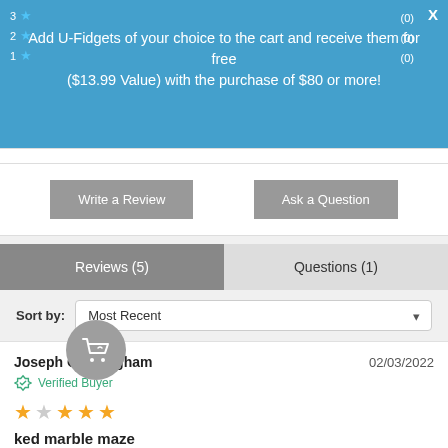Add U-Fidgets of your choice to the cart and receive them for free ($13.99 Value) with the purchase of $80 or more!
Write a Review
Ask a Question
Reviews (5)
Questions (1)
Sort by: Most Recent
Joseph Cunningham   02/03/2022
Verified Buyer
ked marble maze
It was somewhat difficult to build but it works like a charm. I had one broken part but was able to glue it back together and finish the build.